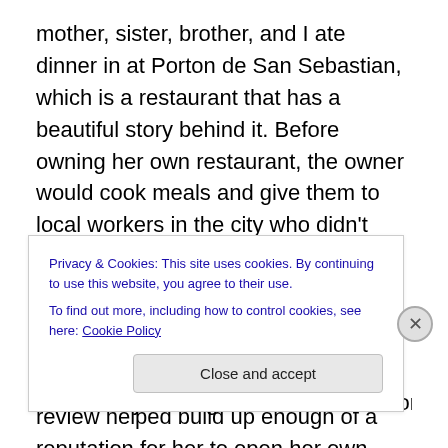mother, sister, brother, and I ate dinner in at Porton de San Sebastian, which is a restaurant that has a beautiful story behind it. Before owning her own restaurant, the owner would cook meals and give them to local workers in the city who didn't have much money as a token of her appreciation. Someone wrote about this quality of this woman's food and the premise behind what she was doing, and eventually, the writer's review helped build up enough of a reputation for her to open her own restaurant. When she did open her own restaurant, she continued her tradition by closing her restaurant off one hour each
Privacy & Cookies: This site uses cookies. By continuing to use this website, you agree to their use.
To find out more, including how to control cookies, see here: Cookie Policy
Close and accept